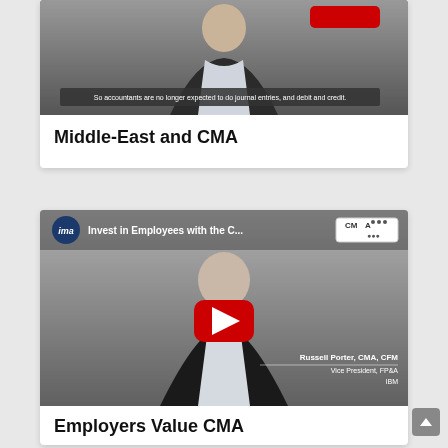[Figure (screenshot): YouTube-style video thumbnail showing a man in a suit with subtitle 'So accountants are no longer expected to do journal entries, and debit and credit.' and a red button at top right.]
Middle-East and CMA
[Figure (screenshot): YouTube video thumbnail titled 'Invest in Employees with the C...' from IMA channel with CMA logo. Shows a man in suit with name plate 'Russell Porter, CMA, CFM / Vice President, FP&A / IBM'. Large red YouTube play button centered.]
Employers Value CMA